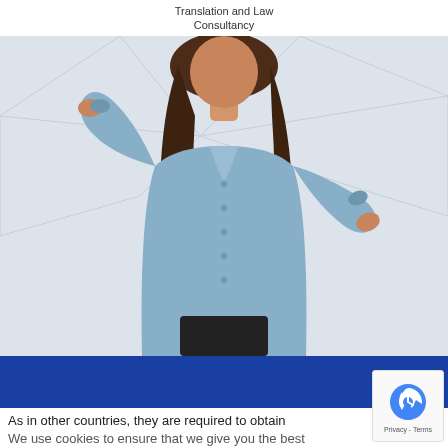Translation and Law Consultancy
[Figure (photo): A young woman with long brown hair wearing a light blue denim shirt, posed with one hand on her chin and one hand on her hip, on a grey geometric background.]
As in other countries, they are required to obtain
We use cookies to ensure that we give you the best